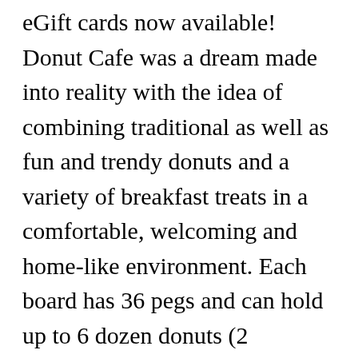eGift cards now available! Donut Cafe was a dream made into reality with the idea of combining traditional as well as fun and trendy donuts and a variety of breakfast treats in a comfortable, welcoming and home-like environment. Each board has 36 pegs and can hold up to 6 dozen donuts (2 donuts/peg). Connolly donuts are amazing, Apple fritters the size of your head, and the blueberry fry cakes are amazing!! Hazelnut Coffee Blended. Latte Caramel Latte. Cappuccino. 4 Different Boards to Choose From: $50/Board (For Rent). MORE PHOTOS. Egg & Cheese with Ham, Bacon or We are committed to excellence within the community. Home. Mesquite Turkey Breast Your choice of Gold Label